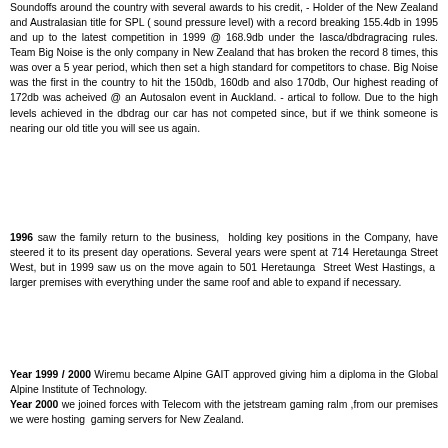Soundoffs around the country with several awards to his credit, - Holder of the New Zealand and Australasian title for SPL ( sound pressure level) with a record breaking 155.4db in 1995 and up to the latest competition in 1999 @ 168.9db under the Iasca/dbdragracing rules. Team Big Noise is the only company in New Zealand that has broken the record 8 times, this was over a 5 year period, which then set a high standard for competitors to chase. Big Noise was the first in the country to hit the 150db, 160db and also 170db, Our highest reading of 172db was acheived @ an Autosalon event in Auckland. - artical to follow. Due to the high levels achieved in the dbdrag our car has not competed since, but if we think someone is nearing our old title you will see us again.
1996 saw the family return to the business, holding key positions in the Company, have steered it to its present day operations. Several years were spent at 714 Heretaunga Street West, but in 1999 saw us on the move again to 501 Heretaunga Street West Hastings, a larger premises with everything under the same roof and able to expand if necessary.
Year 1999 / 2000 Wiremu became Alpine GAIT approved giving him a diploma in the Global Alpine Institute of Technology. Year 2000 we joined forces with Telecom with the jetstream gaming ralm ,from our premises we were hosting gaming servers for New Zealand.